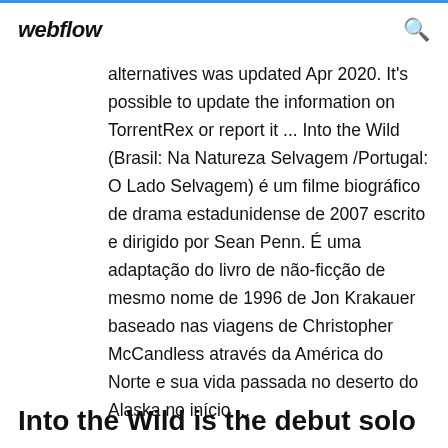webflow
alternatives was updated Apr 2020. It's possible to update the information on TorrentRex or report it ... Into the Wild (Brasil: Na Natureza Selvagem /Portugal: O Lado Selvagem) é um filme biográfico de drama estadunidense de 2007 escrito e dirigido por Sean Penn. É uma adaptação do livro de não-ficção de mesmo nome de 1996 de Jon Krakauer baseado nas viagens de Christopher McCandless através da América do Norte e sua vida passada no deserto do Alaska no início ...
Into the Wild is the debut solo